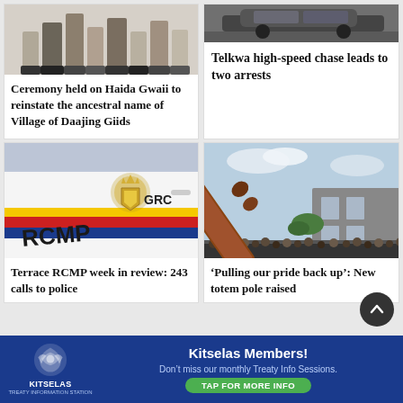[Figure (photo): Group of people standing indoors, feet/legs visible at top]
Ceremony held on Haida Gwaii to reinstate the ancestral name of Village of Daajing Giids
[Figure (photo): Dark car or vehicle, top portion of image]
Telkwa high-speed chase leads to two arrests
[Figure (photo): RCMP GRC police car side panel showing RCMP logo and stripes]
Terrace RCMP week in review: 243 calls to police
[Figure (photo): A totem pole being raised, crowd watching outside a building]
‘Pulling our pride back up’: New totem pole raised
Kitselas Members! Don't miss our monthly Treaty Info Sessions. TAP FOR MORE INFO